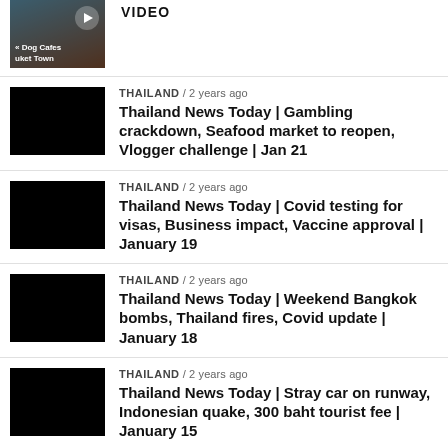[Figure (photo): Thumbnail image showing Dog Cafes Phuket Town with overlay text]
VIDEO
[Figure (photo): Black thumbnail image]
THAILAND / 2 years ago
Thailand News Today | Gambling crackdown, Seafood market to reopen, Vlogger challenge | Jan 21
[Figure (photo): Black thumbnail image]
THAILAND / 2 years ago
Thailand News Today | Covid testing for visas, Business impact, Vaccine approval | January 19
[Figure (photo): Black thumbnail image]
THAILAND / 2 years ago
Thailand News Today | Weekend Bangkok bombs, Thailand fires, Covid update | January 18
[Figure (photo): Black thumbnail image]
THAILAND / 2 years ago
Thailand News Today | Stray car on runway, Indonesian quake, 300 baht tourist fee | January 15
[Figure (photo): Black thumbnail image]
THAILAND / 2 years ago